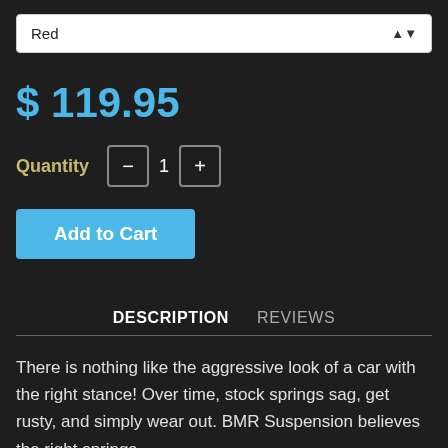Red
$ 119.95
Quantity  –  1  +
Add to Cart
DESCRIPTION   REVIEWS
There is nothing like the aggressive look of a car with the right stance! Over time, stock springs sag, get rusty, and simply wear out. BMR Suspension believes the right springs